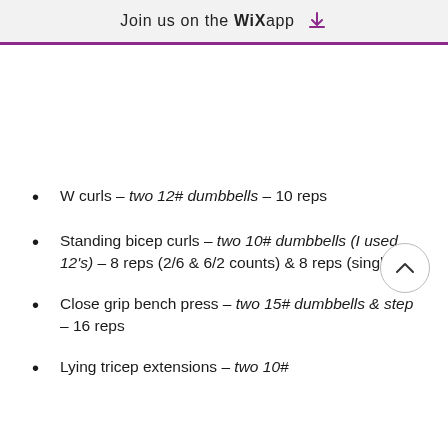Join us on the WiX app
W curls – two 12# dumbbells – 10 reps
Standing bicep curls – two 10# dumbbells (I used 12's) – 8 reps (2/6 & 6/2 counts) & 8 reps (singles)
Close grip bench press – two 15# dumbbells & step – 16 reps
Lying tricep extensions – two 10#